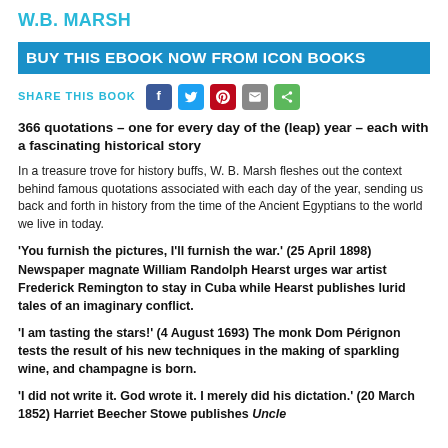W.B. MARSH
BUY THIS EBOOK NOW FROM ICON BOOKS
SHARE THIS BOOK [social icons]
366 quotations – one for every day of the (leap) year – each with a fascinating historical story
In a treasure trove for history buffs, W. B. Marsh fleshes out the context behind famous quotations associated with each day of the year, sending us back and forth in history from the time of the Ancient Egyptians to the world we live in today.
'You furnish the pictures, I'll furnish the war.' (25 April 1898) Newspaper magnate William Randolph Hearst urges war artist Frederick Remington to stay in Cuba while Hearst publishes lurid tales of an imaginary conflict.
'I am tasting the stars!' (4 August 1693) The monk Dom Pérignon tests the result of his new techniques in the making of sparkling wine, and champagne is born.
'I did not write it. God wrote it. I merely did his dictation.' (20 March 1852) Harriet Beecher Stowe publishes Uncle